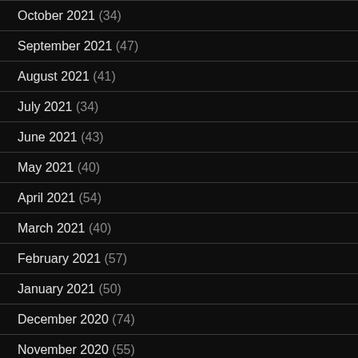October 2021 (34)
September 2021 (47)
August 2021 (41)
July 2021 (34)
June 2021 (43)
May 2021 (40)
April 2021 (54)
March 2021 (40)
February 2021 (57)
January 2021 (50)
December 2020 (74)
November 2020 (55)